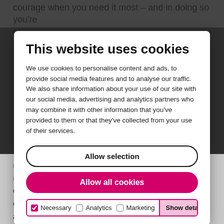courage when you need it most – and in doing so you're
This website uses cookies
We use cookies to personalise content and ads, to provide social media features and to analyse our traffic. We also share information about your use of our site with our social media, advertising and analytics partners who may combine it with other information that you've provided to them or that they've collected from your use of their services.
Allow selection
Allow all cookies
Necessary  Analytics  Marketing  Show details
renowned as an influential thinker and is a regular contributor to expert panels, think-tanks, conferences and professional journals. As a Chartered Companion of CMI, he is one of a select group of thought leaders